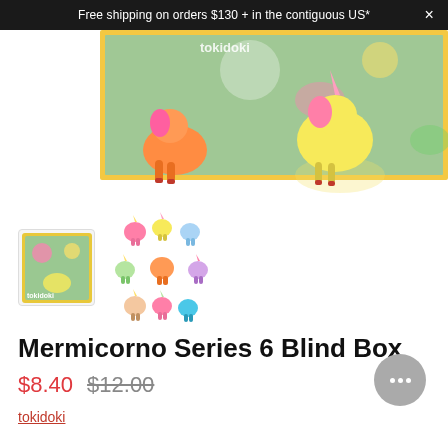Free shipping on orders $130 + in the contiguous US*
[Figure (photo): Product image showing tokidoki My Little Pony Mermicorno unicorn figures in front of colorful tokidoki branded packaging]
[Figure (photo): Thumbnail 1: tokidoki blind box packaging with colorful character artwork]
[Figure (photo): Thumbnail 2: Collection of Mermicorno Series 6 mini figures arranged in a circle]
Mermicorno Series 6 Blind Box
$8.40  $12.00
tokidoki